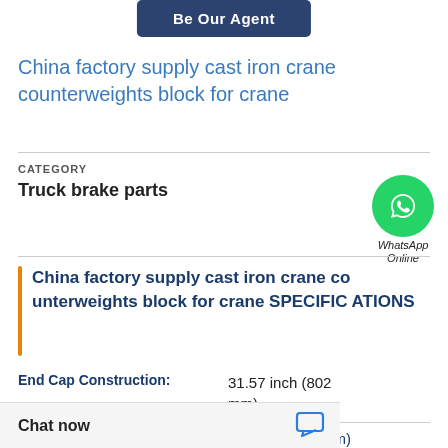Be Our Agent
China factory supply cast iron crane counterweights block for crane
CATEGORY
Truck brake parts
[Figure (logo): WhatsApp green phone icon with WhatsApp Online text below]
China factory supply cast iron crane counterweights block for crane SPECIFICATIONS
End Cap Construction:   31.57 inch (802 mm)
2.76 inch (70 mm)
Chat now